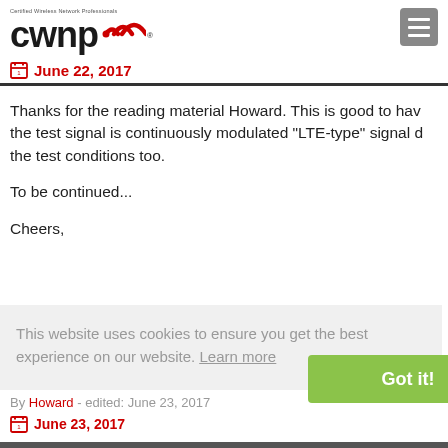CWNP - Certified Wireless Network Professionals
June 22, 2017
Thanks for the reading material Howard.  This is good to have the test signal is continuously modulated "LTE-type" signal d the test conditions too.
To be continued...
Cheers,
David
This website uses cookies to ensure you get the best experience on our website.  Learn more
By Howard - edited: June 23, 2017
June 23, 2017